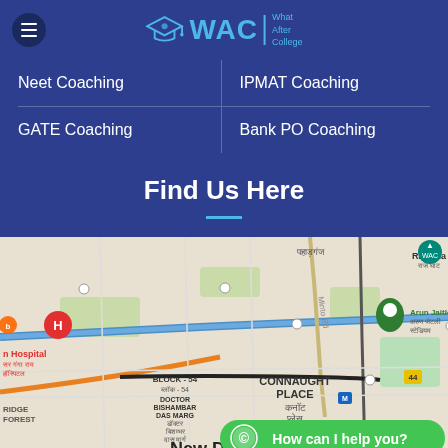[Figure (logo): WAC (What After College) logo with graduation cap icon and teal text]
Neet Coaching
IPMAT Coaching
GATE Coaching
Bank PO Coaching
Find Us Here
[Figure (map): Google Maps screenshot showing Connaught Place, New Delhi area with nearby landmarks including Arun Jaitley Stadium, Raj Ghat, Sir Ganga Ram Hospital, Block-54, Doctor Bishambar Das Marg. A green WhatsApp chat button shows 'How can I help you?']